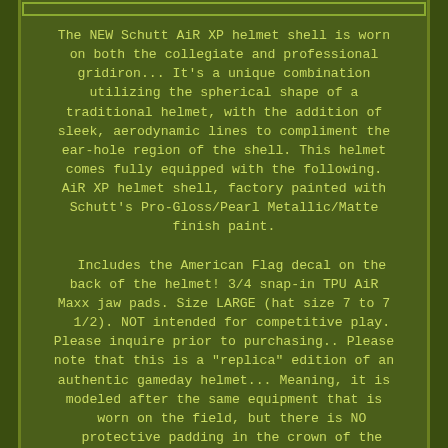The NEW Schutt AiR XP helmet shell is worn on both the collegiate and professional gridiron... It's a unique combination utilizing the spherical shape of a traditional helmet, with the addition of sleek, aerodynamic lines to compliment the ear-hole region of the shell. This helmet comes fully equipped with the following. AiR XP helmet shell, factory painted with Schutt's Pro-Gloss/Pearl Metallic/Matte finish paint.

Includes the American Flag decal on the back of the helmet! 3/4 snap-in TPU AiR Maxx jaw pads. Size LARGE (hat size 7 to 7 1/2). NOT intended for competitive play. Please inquire prior to purchasing.. Please note that this is a "replica" edition of an authentic gameday helmet... Meaning, it is modeled after the same equipment that is worn on the field, but there is NO protective padding in the crown of the helmet. This helmet is intended for display purposes only. The item "NOTRE DAME FIGHTING IRISH Schutt XP Full-Size REPLICA